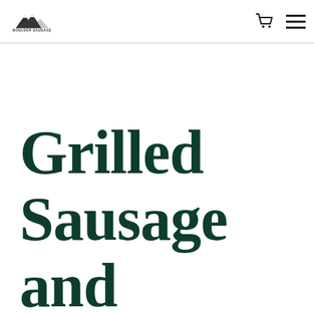[Figure (logo): Boulder Sausage brand logo with mountain graphic and text, plus shopping cart and hamburger menu icons in the header]
Grilled Sausage and